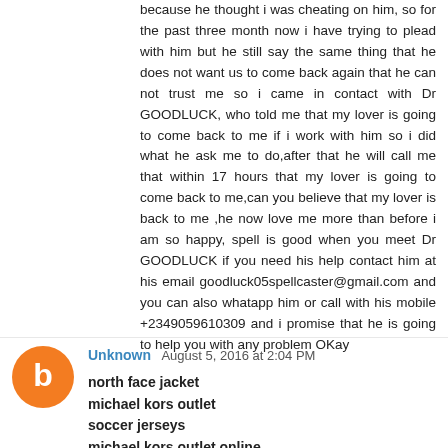because he thought i was cheating on him, so for the past three month now i have trying to plead with him but he still say the same thing that he does not want us to come back again that he can not trust me so i came in contact with Dr GOODLUCK, who told me that my lover is going to come back to me if i work with him so i did what he ask me to do,after that he will call me that within 17 hours that my lover is going to come back to me,can you believe that my lover is back to me ,he now love me more than before i am so happy, spell is good when you meet Dr GOODLUCK if you need his help contact him at his email goodluck05spellcaster@gmail.com and you can also whatapp him or call with his mobile +2349059610309 and i promise that he is going to help you with any problem OKay
Reply
Unknown August 5, 2016 at 2:04 PM
north face jacket
michael kors outlet
soccer jerseys
michael kors outlet online